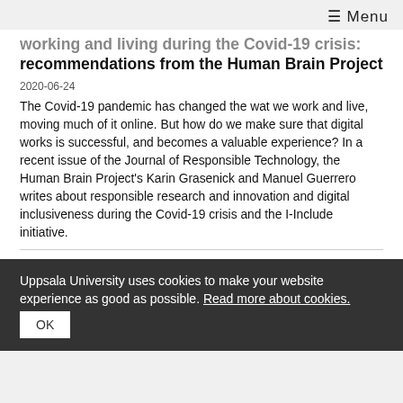≡ Menu
working and living during the Covid-19 crisis: recommendations from the Human Brain Project
2020-06-24
The Covid-19 pandemic has changed the wat we work and live, moving much of it online. But how do we make sure that digital works is successful, and becomes a valuable experience? In a recent issue of the Journal of Responsible Technology, the Human Brain Project's Karin Grasenick and Manuel Guerrero writes about responsible research and innovation and digital inclusiveness during the Covid-19 crisis and the I-Include initiative.
Uppsala University uses cookies to make your website experience as good as possible. Read more about cookies.